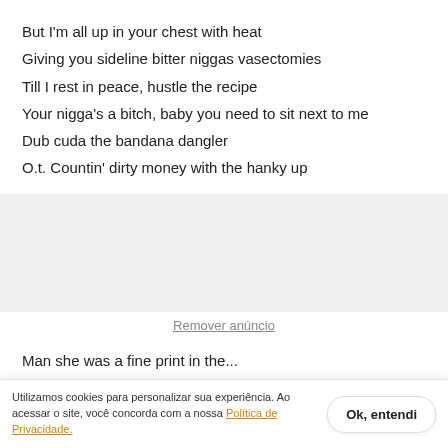But I'm all up in your chest with heat
Giving you sideline bitter niggas vasectomies
Till I rest in peace, hustle the recipe
Your nigga's a bitch, baby you need to sit next to me
Dub cuda the bandana dangler
O.t. Countin' dirty money with the hanky up
[Figure (other): Gray advertisement placeholder box]
Remover anúncio
Man she was a fine print in the...
Utilizamos cookies para personalizar sua experiência. Ao acessar o site, você concorda com a nossa Política de Privacidade.
....real shit nigga, you more what I'm talking about.
Dub got shaked, they get us off you.?